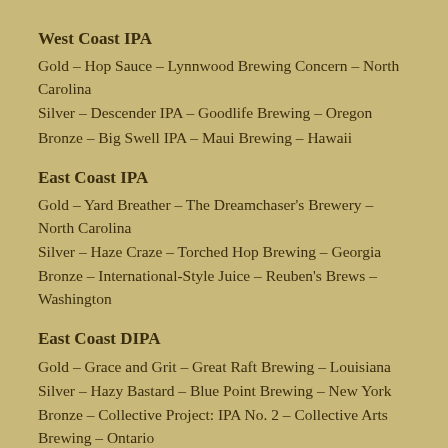West Coast IPA
Gold – Hop Sauce – Lynnwood Brewing Concern – North Carolina
Silver – Descender IPA – Goodlife Brewing – Oregon
Bronze – Big Swell IPA – Maui Brewing – Hawaii
East Coast IPA
Gold – Yard Breather – The Dreamchaser's Brewery – North Carolina
Silver – Haze Craze – Torched Hop Brewing – Georgia
Bronze – International-Style Juice – Reuben's Brews – Washington
East Coast DIPA
Gold – Grace and Grit – Great Raft Brewing – Louisiana
Silver – Hazy Bastard – Blue Point Brewing – New York
Bronze – Collective Project: IPA No. 2 – Collective Arts Brewing – Ontario